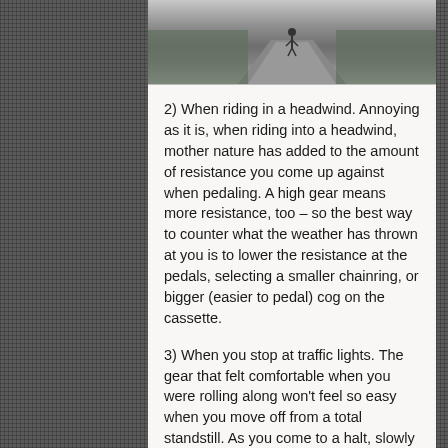[Figure (photo): A cyclist riding away on a road, seen from behind, with greenery on the sides.]
2) When riding in a headwind. Annoying as it is, when riding into a headwind, mother nature has added to the amount of resistance you come up against when pedaling. A high gear means more resistance, too – so the best way to counter what the weather has thrown at you is to lower the resistance at the pedals, selecting a smaller chainring, or bigger (easier to pedal) cog on the cassette.
3) When you stop at traffic lights. The gear that felt comfortable when you were rolling along won't feel so easy when you move off from a total standstill. As you come to a halt, slowly click down – making sure you have pedaled a few revolutions before actually stopping – to ensure that the chain is biting